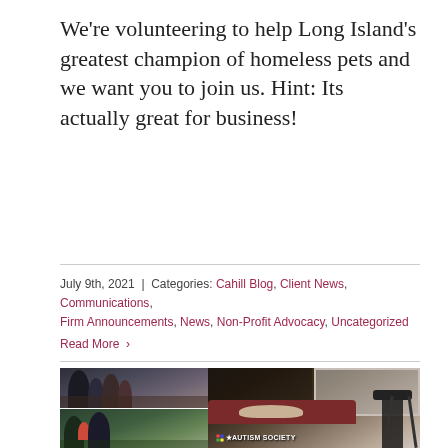We're volunteering to help Long Island's greatest champion of homeless pets and we want you to join us. Hint: Its actually great for business!
July 9th, 2021 | Categories: Cahill Blog, Client News, Communications, Firm Announcements, News, Non-Profit Advocacy, Uncategorized
Read More >
[Figure (photo): Composite of four photos: top-left shows a family group of four people sitting together outdoors; bottom-left shows a woman, young child, and man posing together; right side shows a living room with a dog on a red/maroon couch, a bookshelf with picture frames, a fireplace, and video camera equipment on a tripod. An Autism Society logo/badge is visible at the bottom.]